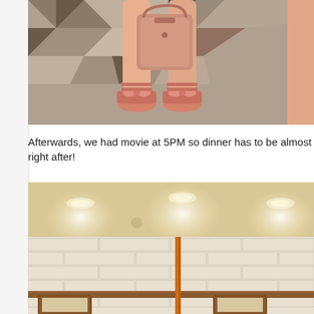[Figure (photo): Close-up photo of a person's legs and feet wearing pink/coral bow-decorated platform sandals, holding a coral/tan handbag, standing on a geometric patterned stone floor]
Afterwards, we had movie at 5PM so dinner has to be almost right after!
[Figure (photo): Interior photo of a restaurant with warm lighting, cream/white brick wall tiles, recessed ceiling lights, and framed pictures on the lower wall section with a wooden divider]